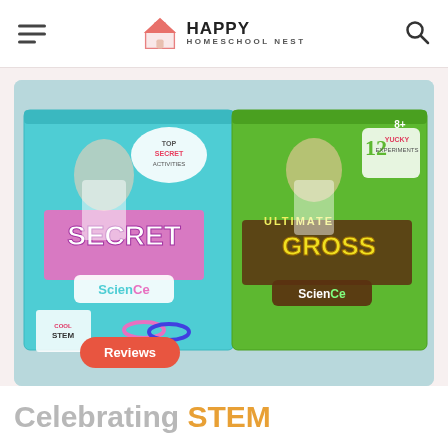Happy Homeschool Nest
[Figure (photo): Two science kit boxes on a table: 'Secret Science' (blue/pink box with a girl in lab coat) and 'Ultimate Gross Science' (green box with a boy, 12 Yucky Experiments), both by John Adams. A 'Reviews' badge overlays the bottom-left of the image.]
Celebrating STEM